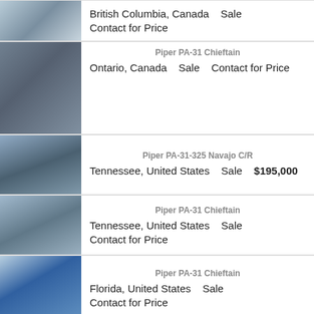[Figure (photo): Aircraft photo - small twin-engine plane on tarmac, top view]
British Columbia, Canada   Sale
Contact for Price
[Figure (photo): Interior photo - gray aircraft seat]
Piper PA-31 Chieftain
Ontario, Canada   Sale   Contact for Price
[Figure (photo): Aircraft photo - white twin-engine plane on tarmac]
Piper PA-31-325 Navajo C/R
Tennessee, United States   Sale   $195,000
[Figure (photo): Aircraft photo - white and tan twin-engine plane on tarmac]
Piper PA-31 Chieftain
Tennessee, United States   Sale
Contact for Price
[Figure (photo): Aircraft photo - white Piper aircraft parked on tarmac, blue sky]
Piper PA-31 Chieftain
Florida, United States   Sale
Contact for Price